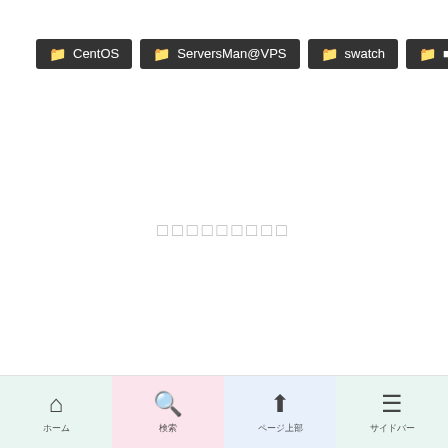📁 CentOS
📁 ServersMan@VPS
📁 swatch
📁 xxxxxxxx
🏷 dovecot
xxxxxxxxx
ホーム　検索　ページ上部　サイドバー